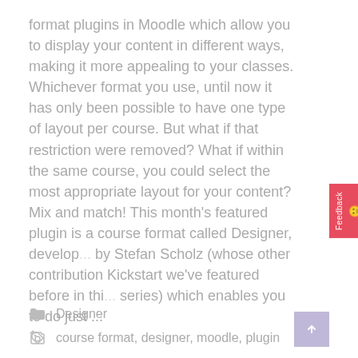format plugins in Moodle which allow you to display your content in different ways, making it more appealing to your classes. Whichever format you use, until now it has only been possible to have one type of layout per course. But what if that restriction were removed? What if within the same course, you could select the most appropriate layout for your content? Mix and match! This month's featured plugin is a course format called Designer, developed by Stefan Scholz (whose other contribution Kickstart we've featured before in this series) which enables you to do just ...
Read more
Designer
course format, designer, moodle, plugin